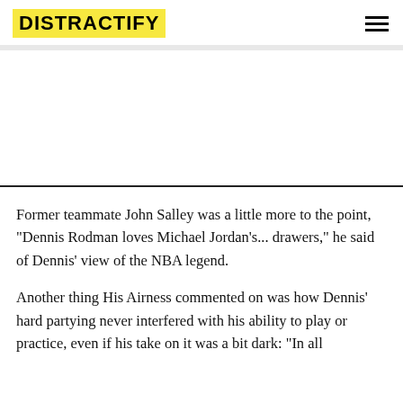DISTRACTIFY
Former teammate John Salley was a little more to the point, "Dennis Rodman loves Michael Jordan's... drawers," he said of Dennis' view of the NBA legend.
Another thing His Airness commented on was how Dennis' hard partying never interfered with his ability to play or practice, even if his take on it was a bit dark: "In all